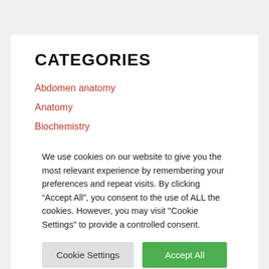CATEGORIES
Abdomen anatomy
Anatomy
Biochemistry
Blood supply
We use cookies on our website to give you the most relevant experience by remembering your preferences and repeat visits. By clicking “Accept All”, you consent to the use of ALL the cookies. However, you may visit "Cookie Settings" to provide a controlled consent.